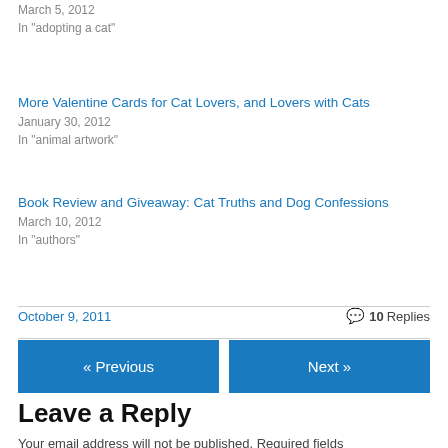March 5, 2012
In "adopting a cat"
More Valentine Cards for Cat Lovers, and Lovers with Cats
January 30, 2012
In "animal artwork"
Book Review and Giveaway: Cat Truths and Dog Confessions
March 10, 2012
In "authors"
October 9, 2011
10 Replies
« Previous
Next »
Leave a Reply
Your email address will not be published. Required fields